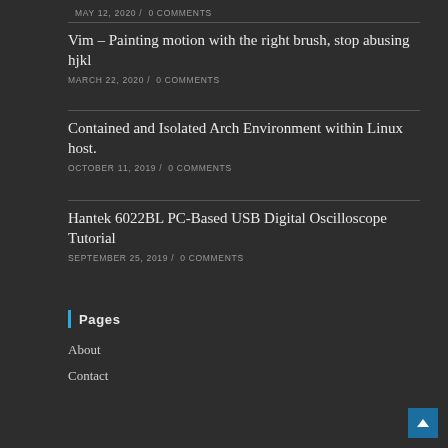MAY 12, 2020 / 0 COMMENTS
Vim – Painting motion with the right brush, stop abusing hjkl
MARCH 22, 2020 / 0 COMMENTS
Contained and Isolated Arch Environment within Linux host.
OCTOBER 11, 2019 / 0 COMMENTS
Hantek 6022BL PC-Based USB Digital Oscilloscope Tutorial
SEPTEMBER 25, 2019 / 0 COMMENTS
Pages
About
Contact